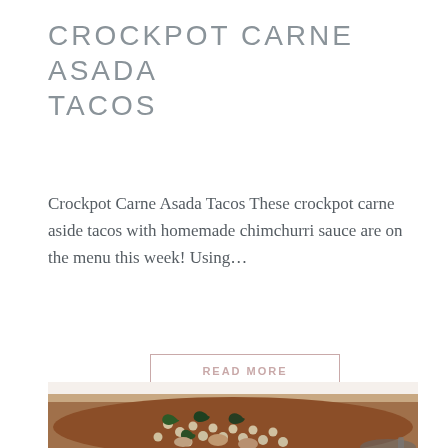CROCKPOT CARNE ASADA TACOS
Crockpot Carne Asada Tacos These crockpot carne aside tacos with homemade chimchurri sauce are on the menu this week! Using…
READ MORE
[Figure (photo): Photo of a soup dish containing small pearl couscous or Israeli couscous, beans, dark leafy greens (spinach), in a brown broth, photographed from above in a white bowl with a spoon visible at the bottom right.]